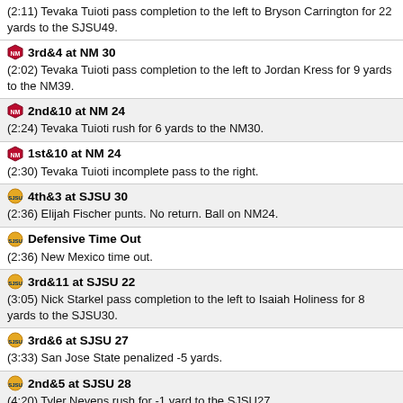(2:11) Tevaka Tuioti pass completion to the left to Bryson Carrington for 22 yards to the SJSU49.
3rd&4 at NM 30 — (2:02) Tevaka Tuioti pass completion to the left to Jordan Kress for 9 yards to the NM39.
2nd&10 at NM 24 — (2:24) Tevaka Tuioti rush for 6 yards to the NM30.
1st&10 at NM 24 — (2:30) Tevaka Tuioti incomplete pass to the right.
4th&3 at SJSU 30 — (2:36) Elijah Fischer punts. No return. Ball on NM24.
Defensive Time Out — (2:36) New Mexico time out.
3rd&11 at SJSU 22 — (3:05) Nick Starkel pass completion to the left to Isaiah Holiness for 8 yards to the SJSU30.
3rd&6 at SJSU 27 — (3:33) San Jose State penalized -5 yards.
2nd&5 at SJSU 28 — (4:20) Tyler Nevens rush for -1 yard to the SJSU27.
1st&10 at SJSU 23